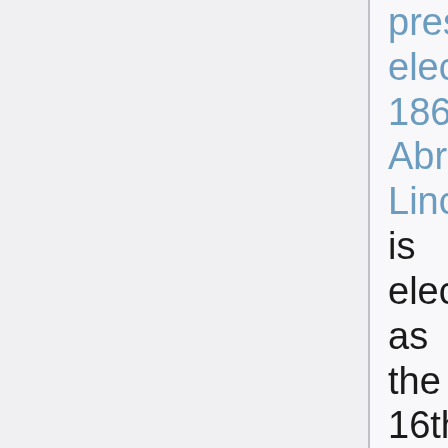presidential election, 1860: Abraham Lincoln is elected as the 16th President of the United States, the